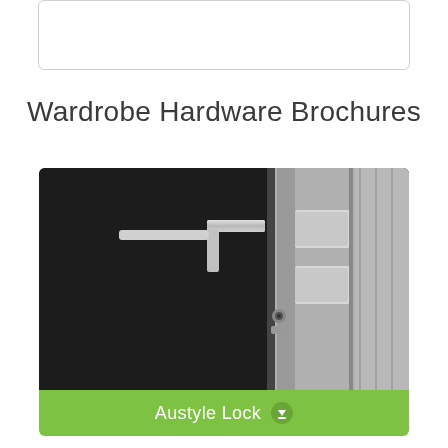[Figure (other): White card/box placeholder at top of page]
Wardrobe Hardware Brochures
[Figure (photo): Close-up photo of a silver/chrome door lock mechanism with handle against a dark black panel, showing keyhole and latch hardware]
Austyle Lock